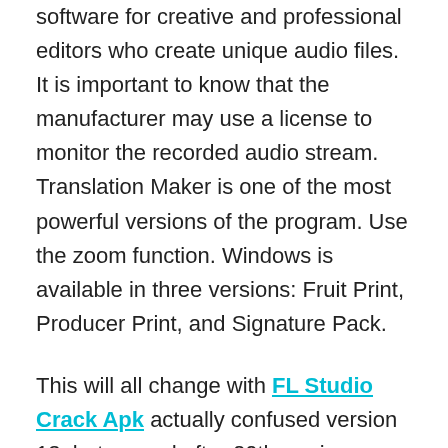software for creative and professional editors who create unique audio files. It is important to know that the manufacturer may use a license to monitor the recorded audio stream. Translation Maker is one of the most powerful versions of the program. Use the zoom function. Windows is available in three versions: Fruit Print, Producer Print, and Signature Pack.
This will all change with FL Studio Crack Apk actually confused version 13, but named after 20th-anniversary software. The title feature here is the original 64-bit Mac version, meaning FL Studio can now be used on OS X / macOS. Without the need for difficult solutions, It's nice to share the license between the Mac and PC versions.